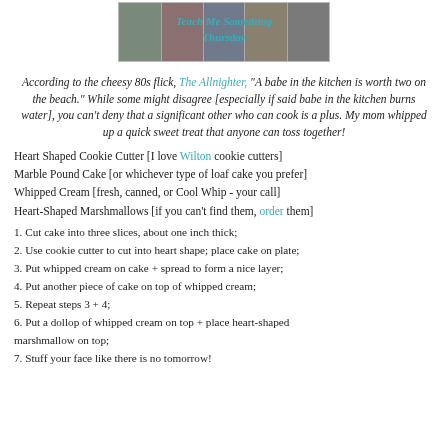[Figure (photo): Banner image for 'Teach Me Something Thursday' showing a collage of kitchen/cooking photos with teal text overlay]
According to the cheesy 80s flick, The Allnighter, "A babe in the kitchen is worth two on the beach." While some might disagree [especially if said babe in the kitchen burns water], you can't deny that a significant other who can cook is a plus. My mom whipped up a quick sweet treat that anyone can toss together!
Heart Shaped Cookie Cutter [I love Wilton cookie cutters]
Marble Pound Cake [or whichever type of loaf cake you prefer]
Whipped Cream [fresh, canned, or Cool Whip - your call]
Heart-Shaped Marshmallows [if you can't find them, order them]
1. Cut cake into three slices, about one inch thick;
2. Use cookie cutter to cut into heart shape; place cake on plate;
3. Put whipped cream on cake + spread to form a nice layer;
4. Put another piece of cake on top of whipped cream;
5. Repeat steps 3 + 4;
6. Put a dollop of whipped cream on top + place heart-shaped marshmallow on top;
7. Stuff your face like there is no tomorrow!